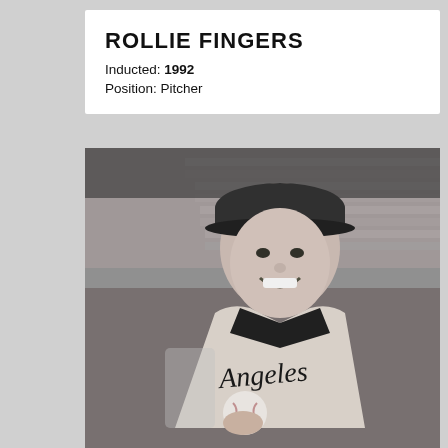ROLLIE FINGERS
Inducted: 1992
Position: Pitcher
[Figure (photo): Black and white photograph of Rollie Fingers as a young baseball player, wearing an Angeles jersey and holding a baseball, smiling at the camera in a stadium setting.]